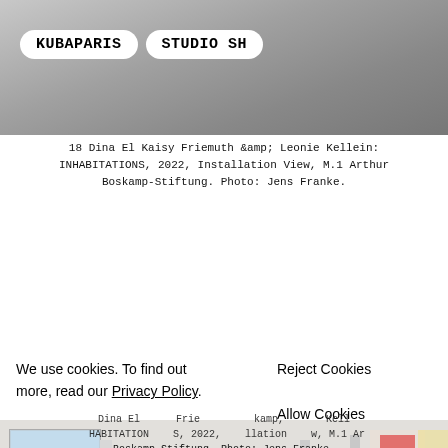[Figure (photo): Installation view photo from above with two people lying on a dark mat/sleeping bag on a grey floor, with a blue pillow visible. KUBAPARIS and STUDIO SH logo pills overlaid.]
18 Dina El Kaisy Friemuth &amp; Leonie Kellein: INHABITATIONS, 2022, Installation View, M.1 Arthur Boskamp-Stiftung. Photo: Jens Franke.
[Figure (photo): Installation view of a gallery or studio space with white partition walls, large windows with landscape view, and colorful printed materials/posters on the right side. Overlaid with pink blob cookie consent banner.]
We use cookies. To find out more, read our Privacy Policy.
Reject Cookies
Allow Cookies
Dina El Kaisy Friemuth &amp; Leonie Kellein: INHABITATIONS, 2022, Installation View, M.1 Arthur Boskamp-Stiftung. Photo: Jens Franke.